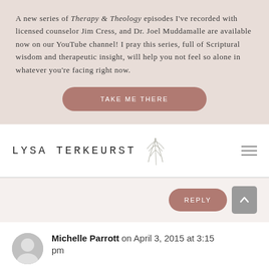A new series of Therapy & Theology episodes I've recorded with licensed counselor Jim Cress, and Dr. Joel Muddamalle are available now on our YouTube channel! I pray this series, full of Scriptural wisdom and therapeutic insight, will help you not feel so alone in whatever you're facing right now.
TAKE ME THERE
[Figure (logo): Lysa TerKeurst logo with leaf illustration]
REPLY
Michelle Parrott on April 3, 2015 at 3:15 pm